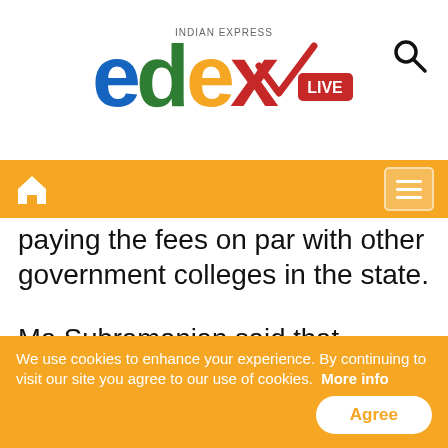[Figure (logo): EdexLive (Indian Express) logo with colorful letters and LIVE badge]
Navigation bar with home icon and menu icon
paying the fees on par with other government colleges in the state.
Ma Subramanian said that agreeing to any further reduction in fees would set a bad precedent as it would be an injustice to the students who did not join the course because of the high fees structure. Besides, the State Government had accepted another demand of the interns of this college and agreed to pay Rs 16 crore towards stipends, the
We use cookies to enhance your experience. By continuing to visit our site you agree to our use of cookies. More info
Agree